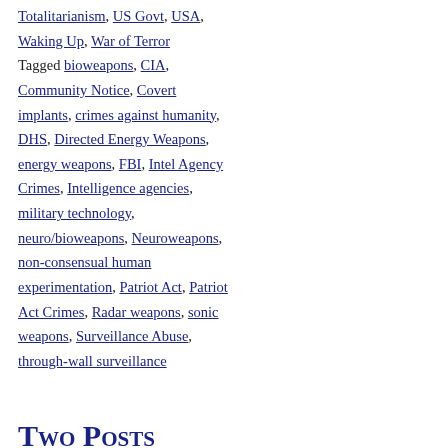Totalitarianism, US Govt, USA, Waking Up, War of Terror
Tagged bioweapons, CIA, Community Notice, Covert implants, crimes against humanity, DHS, Directed Energy Weapons, energy weapons, FBI, Intel Agency Crimes, Intelligence agencies, military technology, neuro/bioweapons, Neuroweapons, non-consensual human experimentation, Patriot Act, Patriot Act Crimes, Radar weapons, sonic weapons, Surveillance Abuse, through-wall surveillance
Two Posts Revealing Massive Abuse of Powers by